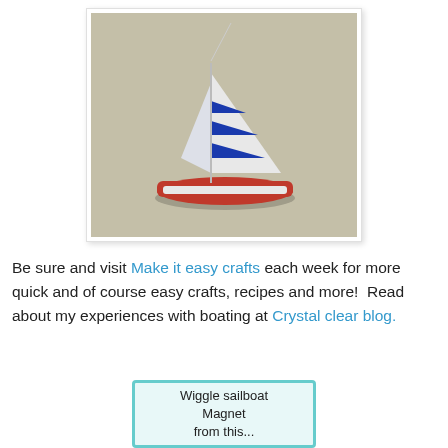[Figure (photo): A handmade sailboat magnet/ornament with white sails and blue stripes, red hull, photographed against a beige/gray wall surface.]
Be sure and visit Make it easy crafts each week for more quick and of course easy crafts, recipes and more!  Read about my experiences with boating at Crystal clear blog.
[Figure (other): A card with teal/turquoise wavy border on light blue background reading 'Wiggle sailboat Magnet from this...']